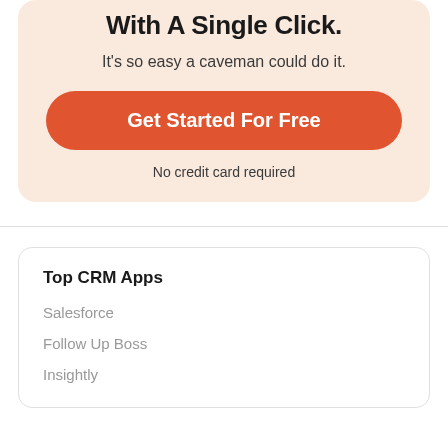With A Single Click.
It's so easy a caveman could do it.
Get Started For Free
No credit card required
Top CRM Apps
Salesforce
Follow Up Boss
Insightly